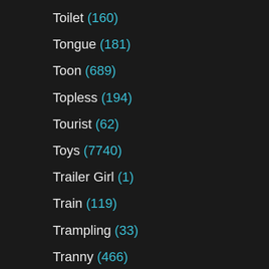Toilet (160)
Tongue (181)
Toon (689)
Topless (194)
Tourist (62)
Toys (7740)
Trailer Girl (1)
Train (119)
Trampling (33)
Tranny (466)
Transsexual (54)
Transvestite (4)
Tribbing (65)
Tribute (149)
Tricked (52)
Trimmed Pussy (37)